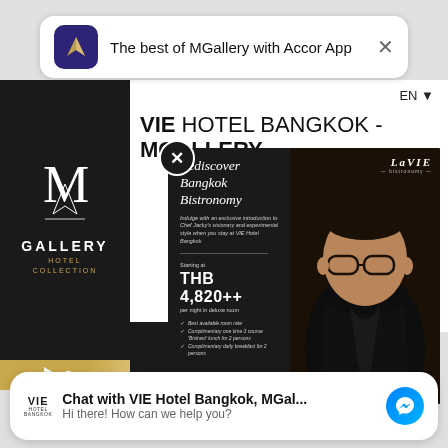[Figure (screenshot): Mobile app notification banner for Accor App with MGallery branding and close button]
The best of MGallery with Accor App
[Figure (logo): MGallery Hotel Collection logo in dark sidebar]
EN
VIE HOTEL BANGKOK - MGALLERY
[Figure (screenshot): Popup overlay showing Rediscover Bangkok Bistronomy promotion with chef photo, price THB 4,820++ per night and amenities list]
Rediscover Bangkok Bistronomy
Indulge with an exclusive introduction to Chef Jacky's visionary and experimental style when you stay at VIE Hotel Bangkok
Starting at
THB 4,820++
per night in deluxe room
Best available room rate
Complimentary one time 3-course 'Bistrant' lunch for 2 persons
Complimentary daily breakfast for 2 persons
ENTER
[Figure (screenshot): Chat widget for VIE Hotel Bangkok MGallery with Messenger icon]
Chat with VIE Hotel Bangkok, MGal...
Hi there! How can we help you?